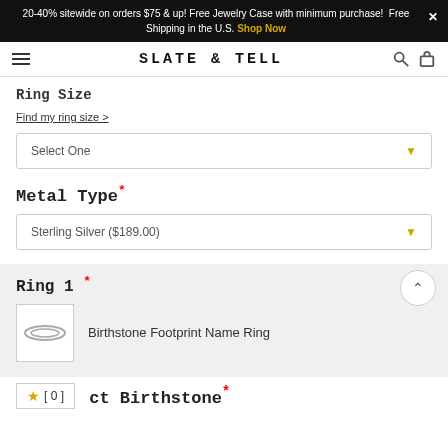20-40% sitewide on orders $75 & up! Free Jewelry Case with minimum purchase!  Free Shipping in the U.S.  Shop Now
SLATE & TELL
Ring Size
Find my ring size >
Select One
Metal Type*
Sterling Silver ($189.00)
Ring 1 *
Birthstone Footprint Name Ring
[ 0 ]
ct Birthstone*